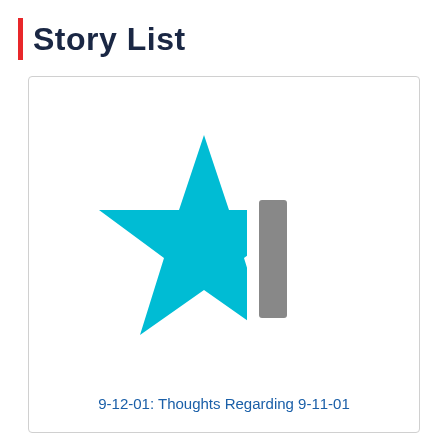Story List
[Figure (logo): A cyan/blue star shape (left half only, like a half-star icon) with a gray vertical rectangle bar to its right, on a white background inside a bordered card.]
9-12-01: Thoughts Regarding 9-11-01